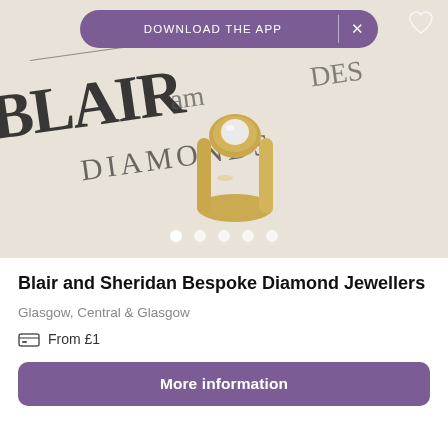[Figure (screenshot): Mobile app screenshot showing a jewellery product page for Blair and Sheridan Bespoke Diamond Jewellers. Top portion shows a product photo of a gold diamond ring on a Blair and Sheridan branded card background. A purple 'DOWNLOAD THE APP' banner with a close X button overlays the top of the image. Five navigation dots appear at the bottom of the image. Below the image is the business name, location, price, and a 'More information' button.]
Blair and Sheridan Bespoke Diamond Jewellers
Glasgow, Central & Glasgow
From £1
More information